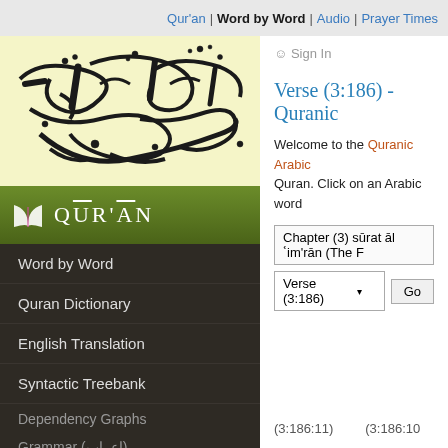Qur'an | Word by Word | Audio | Prayer Times
[Figure (illustration): Arabic calligraphy of the Shahada (Islamic declaration of faith) in black ink on light yellow background]
[Figure (logo): Green Quran banner with open book icon and 'QUR'AN' text in white italic]
Word by Word
Quran Dictionary
English Translation
Syntactic Treebank
Dependency Graphs
Grammar (إعراب)
Ontology of Concepts
Documentation
Sign In
Verse (3:186) - Quranic
Welcome to the Quranic Arabic Quran. Click on an Arabic word
Chapter (3) sūrat āl ʿim'rān (The F
Verse (3:186)
(3:186:11)
(3:186:10